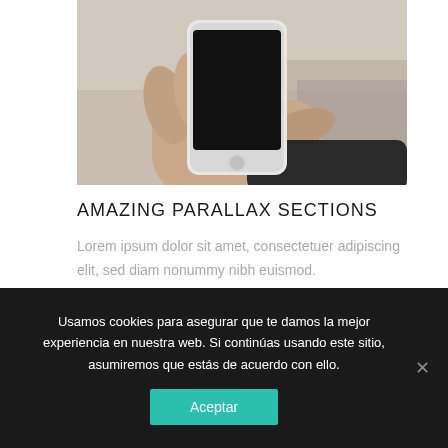[Figure (photo): A hand holding a white smartphone with a black screen, shown from above against a blurred indoor background.]
AMAZING PARALLAX SECTIONS
Lorem ipsum dolor sit amet, consectetuer adipiscing elit, sed diam nonummy nibh euismod.
Usamos cookies para asegurar que te damos la mejor experiencia en nuestra web. Si continúas usando este sitio, asumiremos que estás de acuerdo con ello.
Aceptar